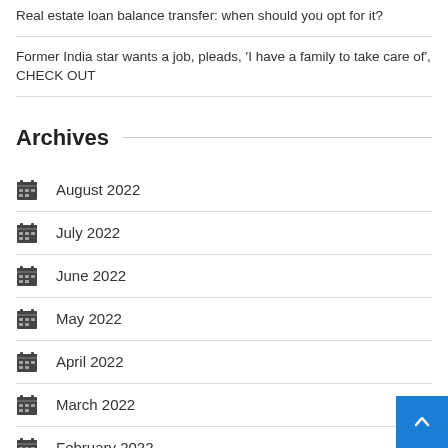Real estate loan balance transfer: when should you opt for it?
Former India star wants a job, pleads, 'I have a family to take care of', CHECK OUT
Archives
August 2022
July 2022
June 2022
May 2022
April 2022
March 2022
February 2022
January 2022